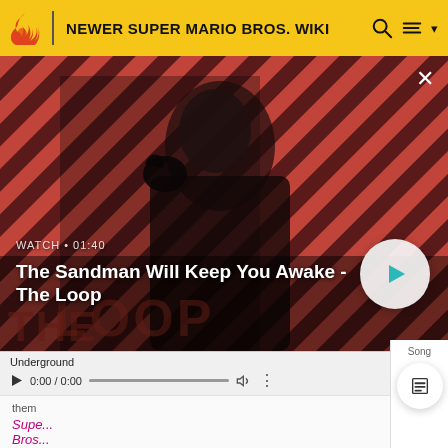NEWER SUPER MARIO BROS. WIKI
[Figure (screenshot): Video thumbnail showing a dark-cloaked figure with a raven on shoulder, against a red and black diagonal striped background. Shows 'WATCH • 01:40' and title 'The Sandman Will Keep You Awake - The Loop' with a play button.]
WATCH • 01:40
The Sandman Will Keep You Awake - The Loop
Underground
0:00 / 0:00
Song
them
Supe
Bros